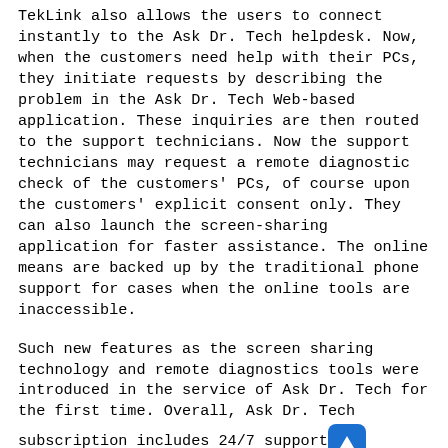TekLink also allows the users to connect instantly to the Ask Dr. Tech helpdesk. Now, when the customers need help with their PCs, they initiate requests by describing the problem in the Ask Dr. Tech Web-based application. These inquiries are then routed to the support technicians. Now the support technicians may request a remote diagnostic check of the customers' PCs, of course upon the customers' explicit consent only. They can also launch the screen-sharing application for faster assistance. The online means are backed up by the traditional phone support for cases when the online tools are inaccessible.
Such new features as the screen sharing technology and remote diagnostics tools were introduced in the service of Ask Dr. Tech for the first time. Overall, Ask Dr. Tech subscription includes 24/7 support through online, phone, and email where technicians are standing by 24 hours a